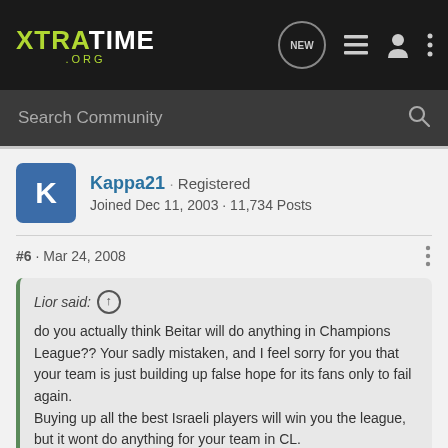XTRATIME .ORG
Search Community
Kappa21 · Registered
Joined Dec 11, 2003 · 11,734 Posts
#6 · Mar 24, 2008
Lior said:
do you actually think Beitar will do anything in Champions League?? Your sadly mistaken, and I feel sorry for you that your team is just building up false hope for its fans only to fail again.
Buying up all the best Israeli players will win you the league, but it wont do anything for your team in CL.
Im looking forward to Netanya in UEFA Cup, i really think they can do some damage there especially with the way Jammer has been
Click to expand...